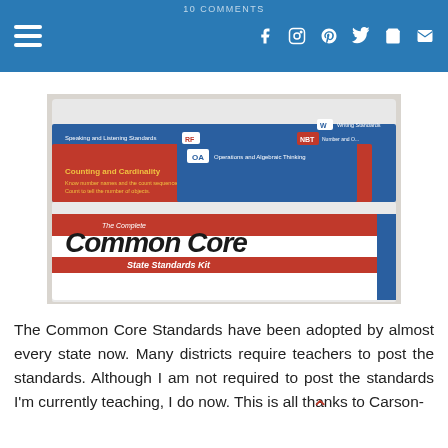10 COMMENTS | navigation icons: hamburger, facebook, instagram, pinterest, twitter, cart, email
[Figure (photo): Photo of The Complete Common Core State Standards Kit box, showing colorful tabbed dividers with labels like 'Counting and Cardinality', 'Operations and Algebraic Thinking', 'RF', 'OA', 'NBT', 'W']
The Common Core Standards have been adopted by almost every state now. Many districts require teachers to post the standards. Although I am not required to post the standards I'm currently teaching, I do now. This is all thanks to Carson-